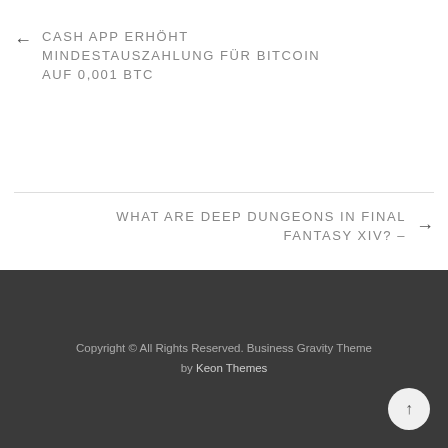← CASH APP ERHÖHT MINDESTAUSZAHLUNG FÜR BITCOIN AUF 0,001 BTC
WHAT ARE DEEP DUNGEONS IN FINAL FANTASY XIV? – →
Copyright © All Rights Reserved. Business Gravity Theme by Keon Themes